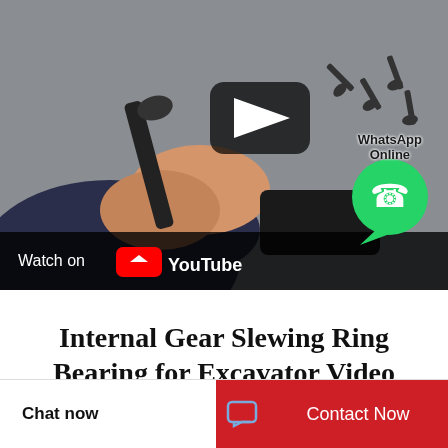[Figure (screenshot): YouTube video thumbnail showing hands manipulating an internal gear slewing ring bearing component. A YouTube play button overlay is centered on the video. A WhatsApp Online chat bubble is in the bottom right. The bottom bar shows 'Watch on YouTube' text with YouTube logo.]
Internal Gear Slewing Ring Bearing for Excavator Video
Chat now
Contact Now